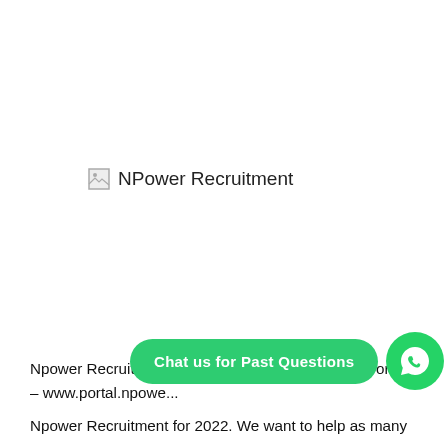[Figure (photo): Broken image placeholder for NPower Recruitment image with alt text 'NPower Recruitment']
Npower Recruitment 2022/2023 Application Form Portal – www.portal.npowe...

Npower Recruitment for 2022. We want to help as many
[Figure (other): Green 'Chat us for Past Questions' WhatsApp button with WhatsApp icon on the right]